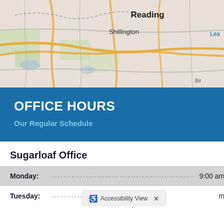[Figure (map): Street map showing Reading, Shillington, and surrounding area with roads and geographic features]
OFFICE HOURS
Our Regular Schedule
Sugarloaf Office
| Day | Hours |
| --- | --- |
| Monday: | 9:00 am - 6:00 pm |
| Tuesday: | m - 7:00 pm |